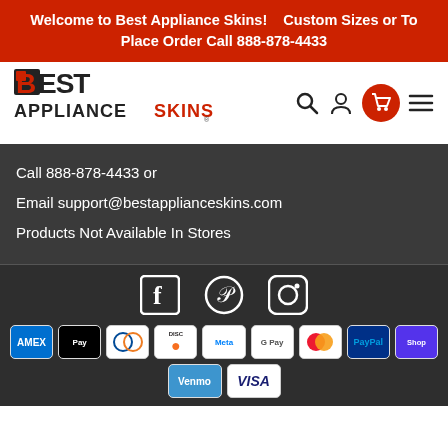Welcome to Best Appliance Skins!    Custom Sizes or To Place Order Call 888-878-4433
[Figure (logo): Best Appliance Skins logo with navigation icons (search, user, cart, hamburger menu)]
Call 888-878-4433 or
Email support@bestapplianceskins.com
Products Not Available In Stores
[Figure (infographic): Social media icons: Facebook, Pinterest, Instagram]
[Figure (infographic): Payment method icons: AMEX, Apple Pay, Diners, Discover, Meta Pay, Google Pay, Mastercard, PayPal, Shopify Pay, Venmo, Visa]